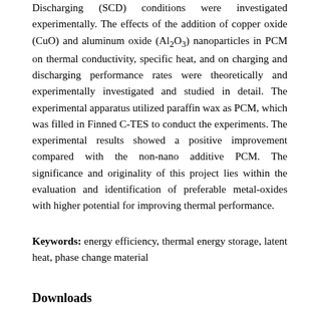Discharging (SCD) conditions were investigated experimentally. The effects of the addition of copper oxide (CuO) and aluminum oxide (Al2O3) nanoparticles in PCM on thermal conductivity, specific heat, and on charging and discharging performance rates were theoretically and experimentally investigated and studied in detail. The experimental apparatus utilized paraffin wax as PCM, which was filled in Finned C-TES to conduct the experiments. The experimental results showed a positive improvement compared with the non-nano additive PCM. The significance and originality of this project lies within the evaluation and identification of preferable metal-oxides with higher potential for improving thermal performance.
Keywords: energy efficiency, thermal energy storage, latent heat, phase change material
Downloads